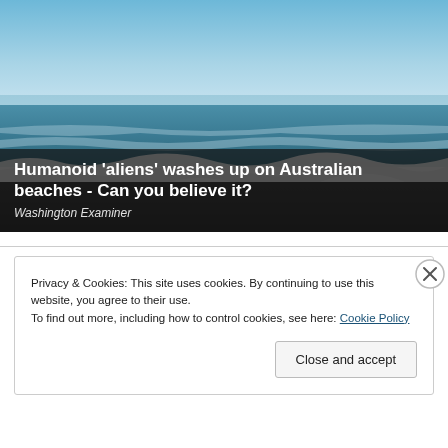[Figure (photo): Ocean beach scene with waves crashing on a dark sandy shore; blue sky above the horizon]
Humanoid 'aliens' washes up on Australian beaches - Can you believe it?
Washington Examiner
Privacy & Cookies: This site uses cookies. By continuing to use this website, you agree to their use.
To find out more, including how to control cookies, see here: Cookie Policy
Close and accept